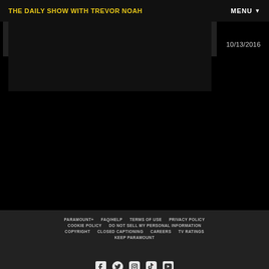THE DAILY SHOW WITH TREVOR NOAH | MENU
[Figure (screenshot): Dark video player area with date 10/13/2016 displayed on the right side]
10/13/2016
PARAMOUNT+ | FAQ/HELP | TERMS OF USE | PRIVACY POLICY | COOKIE POLICY | DO NOT SELL MY PERSONAL INFORMATION | COPYRIGHT | CLOSED CAPTIONING | CAREERS | TV RATINGS | KEEP PARAMOUNT
[Figure (other): Social media icons row: Facebook, Twitter, Instagram, TikTok, YouTube]